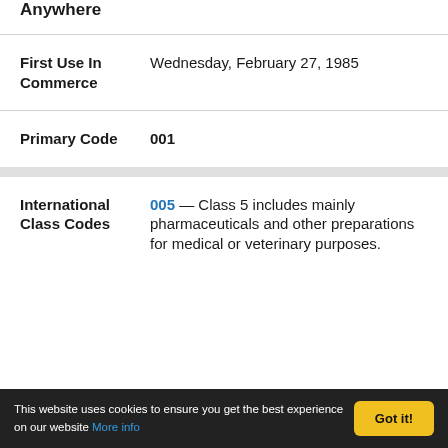Anywhere
| Field | Value |
| --- | --- |
| First Use In Commerce | Wednesday, February 27, 1985 |
| Primary Code | 001 |
| International Class Codes | 005 — Class 5 includes mainly pharmaceuticals and other preparations for medical or veterinary purposes. |
This website uses cookies to ensure you get the best experience on our website More info Got it!